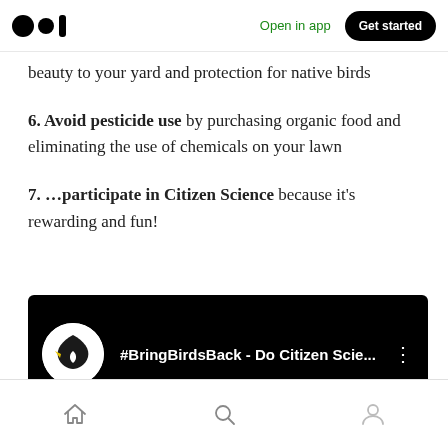Open in app | Get started
beauty to your yard and protection for native birds
6. Avoid pesticide use by purchasing organic food and eliminating the use of chemicals on your lawn
7. …participate in Citizen Science because it's rewarding and fun!
[Figure (screenshot): Video thumbnail/link showing '#BringBirdsBack - Do Citizen Scie...' with a bird logo on black background]
Home | Search | Profile